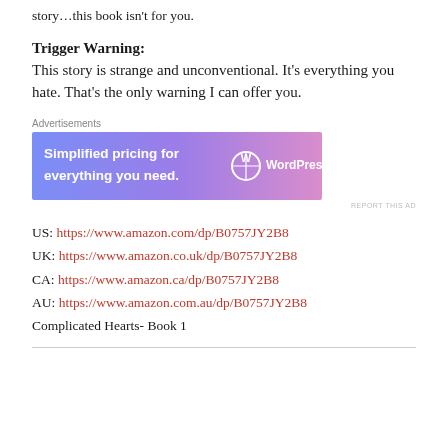story...this book isn't for you.
Trigger Warning:
This story is strange and unconventional. It's everything you hate. That's the only warning I can offer you.
[Figure (screenshot): WordPress.com advertisement banner: 'Simplified pricing for everything you need.' with WordPress.com logo on a blue-to-purple gradient background.]
US: https://www.amazon.com/dp/B0757JY2B8
UK: https://www.amazon.co.uk/dp/B0757JY2B8
CA: https://www.amazon.ca/dp/B0757JY2B8
AU: https://www.amazon.com.au/dp/B0757JY2B8
Complicated Hearts- Book 1